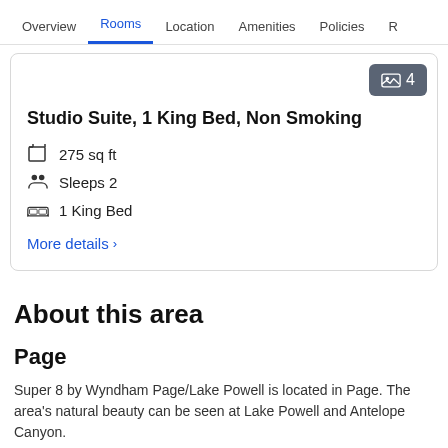Overview | Rooms | Location | Amenities | Policies | R
Studio Suite, 1 King Bed, Non Smoking
275 sq ft
Sleeps 2
1 King Bed
More details >
About this area
Page
Super 8 by Wyndham Page/Lake Powell is located in Page. The area's natural beauty can be seen at Lake Powell and Antelope Canyon.